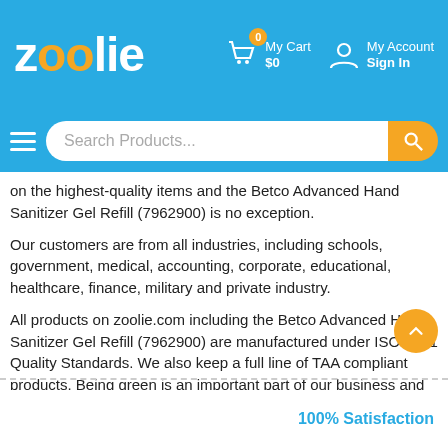zoolie — My Cart $0 | My Account Sign In
[Figure (screenshot): Zoolie website header with logo, cart, account icons, and search bar]
on the highest-quality items and the Betco Advanced Hand Sanitizer Gel Refill (7962900) is no exception.
Our customers are from all industries, including schools, government, medical, accounting, corporate, educational, healthcare, finance, military and private industry.
All products on zoolie.com including the Betco Advanced Hand Sanitizer Gel Refill (7962900) are manufactured under ISO 9001 Quality Standards. We also keep a full line of TAA compliant products. Being green is an important part of our business and we are meeting all Green Compliance Standards.
100% Satisfaction